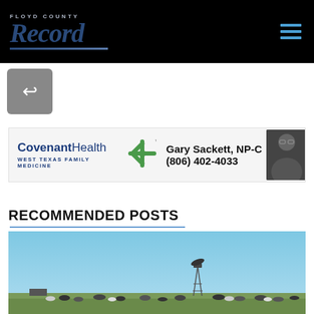Floyd County Record
[Figure (logo): Floyd County Record newspaper logo on black background with hamburger menu icon]
[Figure (other): Share/reply icon button in grey square]
[Figure (other): Covenant Health West Texas Family Medicine advertisement banner featuring Gary Sackett NP-C (806) 402-4033]
RECOMMENDED POSTS
[Figure (photo): Rural Texas landscape with blue sky, cattle grazing on green plains, and a windmill in the background]